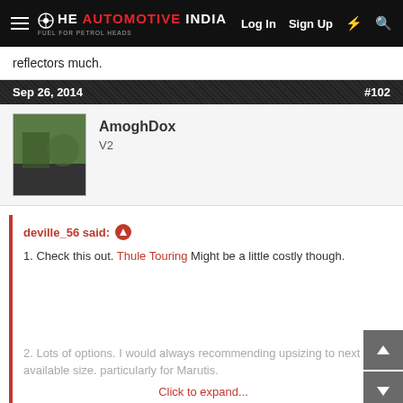THE AUTOMOTIVE INDIA | Log In  Sign Up
reflectors much.
Sep 26, 2014    #102
AmoghDox
V2
deville_56 said:
1. Check this out. Thule Touring Might be a little costly though.
2. Lots of options. I would always recommending upsizing to next available size. particularly for Marutis.
Click to expand...
1) I checked that already it was way to expensive, ofcourse quality will not match with local manufacturers like Ajantha etc. should be able to